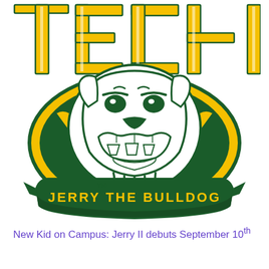[Figure (logo): Wayne State University Tech mascot logo: large yellow block letters spelling TECH at top with green outlines, below which is a circular emblem featuring a white and green bulldog mascot face with dark green detail, surrounded by a yellow oval and a dark green banner ribbon reading JERRY THE BULLDOG in yellow letters. A small TM mark is visible near the bulldog's lower left.]
New Kid on Campus: Jerry II debuts September 10th